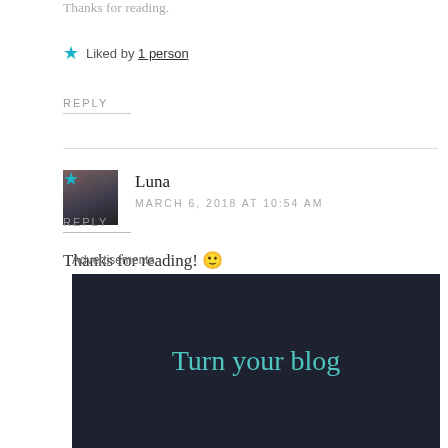Thanks for reading.
★ Liked by 1 person
REPLY
Luna
MARCH 6, 2018 AT 10:54 AM
Thanks for reading! 🙂
★ Like
REPLY
Advertisements
Turn your blog